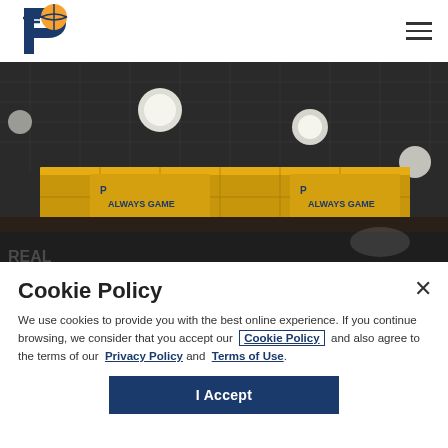Indiana Pacers logo and navigation
[Figure (screenshot): Interior photo of a sports arena concourse with gold signage reading 'ALWAYS GAME' and the Pacers logo, hanging pendant lights, dark industrial ceiling]
Cookie Policy
We use cookies to provide you with the best online experience. If you continue browsing, we consider that you accept our Cookie Policy and also agree to the terms of our Privacy Policy and Terms of Use.
I Accept